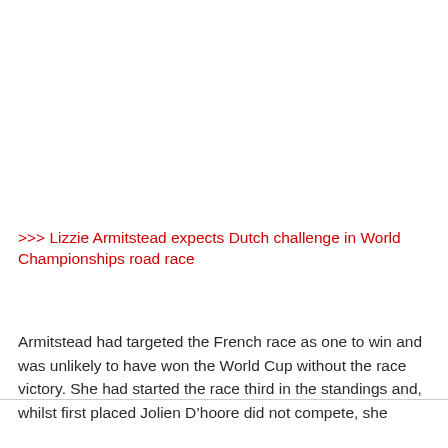>>> Lizzie Armitstead expects Dutch challenge in World Championships road race
Armitstead had targeted the French race as one to win and was unlikely to have won the World Cup without the race victory. She had started the race third in the standings and, whilst first placed Jolien D’hoore did not compete, she